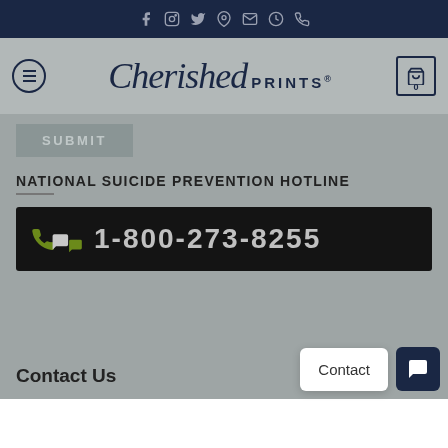Cherished Prints navigation bar with social icons
[Figure (screenshot): Cherished Prints website header with logo and menu/cart icons]
SUBMIT
NATIONAL SUICIDE PREVENTION HOTLINE
[Figure (infographic): Black banner with phone and chat icons showing hotline number 1-800-273-8255]
Contact Us
Contact